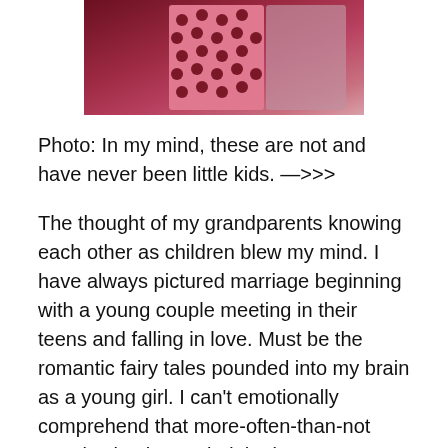[Figure (photo): A partial photograph showing what appears to be two people, one wearing a pink and dark polka dot patterned garment, against a dark reddish-maroon background.]
Photo: In my mind, these are not and have never been little kids. —>>>
The thought of my grandparents knowing each other as children blew my mind. I have always pictured marriage beginning with a young couple meeting in their teens and falling in love. Must be the romantic fairy tales pounded into my brain as a young girl. I can't emotionally comprehend that more-often-than-not people simply married the best person they could find in their small town. My grandparents had known each other for fifteen years before they got married. Did they like each other the whole